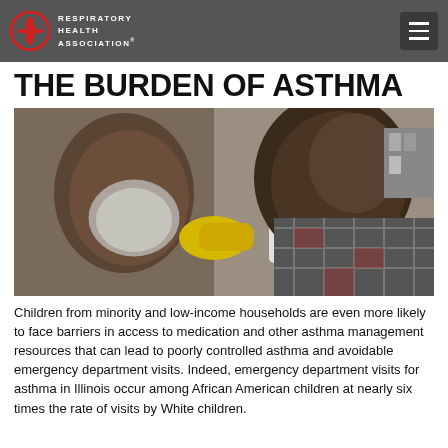RESPIRATORY HEALTH ASSOCIATION
THE BURDEN OF ASTHMA
[Figure (photo): A woman helps a young child use an inhaler with a spacer/mask device, in a medical or clinical setting.]
Children from minority and low-income households are even more likely to face barriers in access to medication and other asthma management resources that can lead to poorly controlled asthma and avoidable emergency department visits. Indeed, emergency department visits for asthma in Illinois occur among African American children at nearly six times the rate of visits by White children.